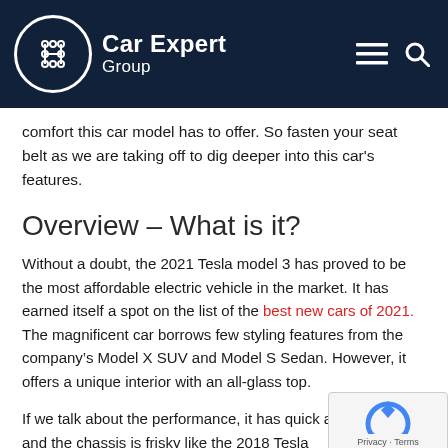Car Expert Group
comfort this car model has to offer. So fasten your seat belt as we are taking off to dig deeper into this car's features.
Overview – What is it?
Without a doubt, the 2021 Tesla model 3 has proved to be the most affordable electric vehicle in the market. It has earned itself a spot on the list of the best new cars of 2021. The magnificent car borrows few styling features from the company's Model X SUV and Model S Sedan. However, it offers a unique interior with an all-glass top.
If we talk about the performance, it has quick acceleration, and the chassis is frisky like the 2018 Tesla